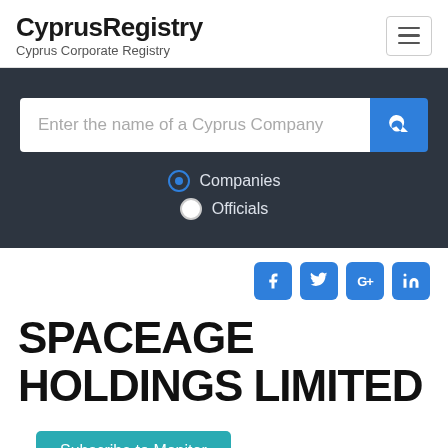CyprusRegistry — Cyprus Corporate Registry
[Figure (screenshot): Search bar with placeholder text 'Enter the name of a Cyprus Company' and blue search button, with Companies and Officials radio options below]
[Figure (infographic): Social media icons: Facebook, Twitter, Google+, LinkedIn in blue rounded squares]
SPACEAGE HOLDINGS LIMITED
Subscribe to Monitor